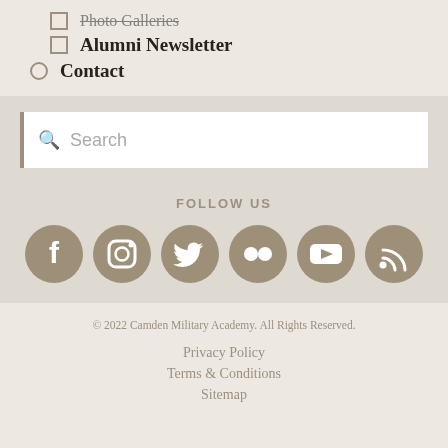Photo Galleries
Alumni Newsletter
Contact
Search
[Figure (infographic): Social media follow icons: Facebook, Instagram, Twitter, Flickr, YouTube, RSS feed - brown circular icons with 'FOLLOW US' label]
© 2022 Camden Military Academy. All Rights Reserved.
Privacy Policy
Terms & Conditions
Sitemap